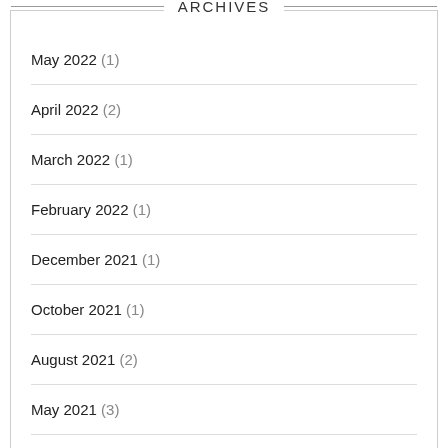ARCHIVES
May 2022 (1)
April 2022 (2)
March 2022 (1)
February 2022 (1)
December 2021 (1)
October 2021 (1)
August 2021 (2)
May 2021 (3)
December 2020 (1)